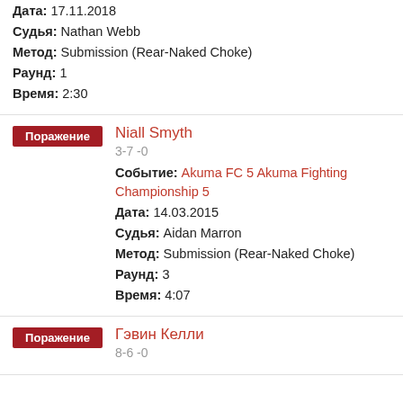Дата: 17.11.2018
Судья: Nathan Webb
Метод: Submission (Rear-Naked Choke)
Раунд: 1
Время: 2:30
Поражение
Niall Smyth
3-7 -0
Событие: Akuma FC 5 Akuma Fighting Championship 5
Дата: 14.03.2015
Судья: Aidan Marron
Метод: Submission (Rear-Naked Choke)
Раунд: 3
Время: 4:07
Поражение
Гэвин Келли
8-6 -0